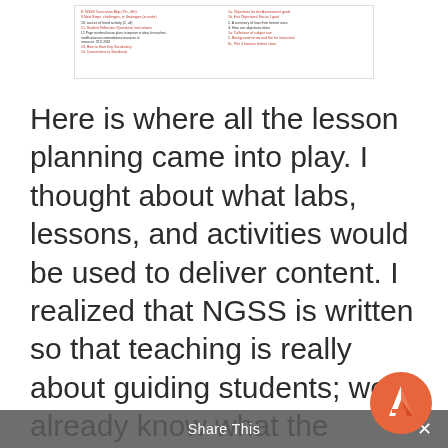[Figure (screenshot): A small thumbnail screenshot of a document with two columns of small red and black text listing lesson planning items.]
Here is where all the lesson planning came into play. I thought about what labs, lessons, and activities would be used to deliver content. I realized that NGSS is written so that teaching is really about guiding students; we already know what the student needs to be able to do to show that they have mastered the standard. Build the content around those. I
[Figure (logo): Orange/red circular logo with a stylized letter A in the bottom right corner overlay]
Share This ×